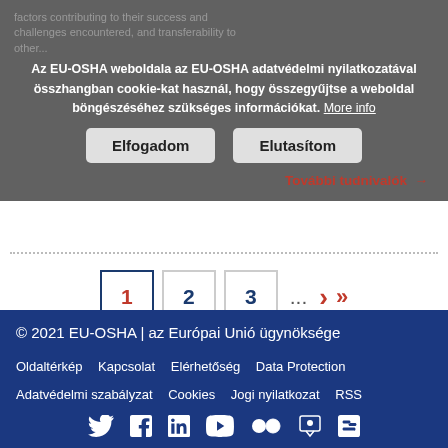factors contributing to their success and challenges encountered, and transferability to other...
Az EU-OSHA weboldala az EU-OSHA adatvédelmi nyilatkozatával összhangban cookie-kat használ, hogy összegyűjtse a weboldal böngészéséhez szükséges információkat. More info
Elfogadom | Elutasítom
További tudnivalók →
1  2  3  ...  >  >>
© 2021 EU-OSHA | az Európai Unió ügynöksége
Oldaltérkép  Kapcsolat  Elérhetőség  Data Protection  Adatvédelmi szabályzat  Cookies  Jogi nyilatkozat  RSS